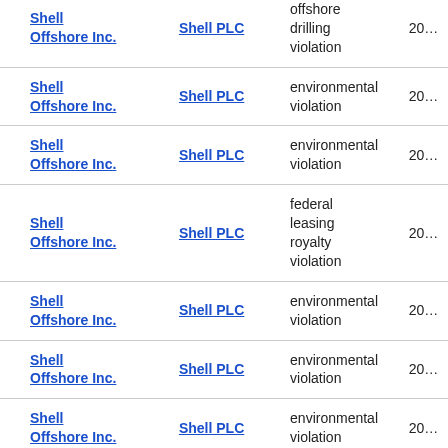| Company | Parent | Violation Type | Year |
| --- | --- | --- | --- |
| Shell Offshore Inc. | Shell PLC | offshore drilling violation | 20… |
| Shell Offshore Inc. | Shell PLC | environmental violation | 20… |
| Shell Offshore Inc. | Shell PLC | environmental violation | 20… |
| Shell Offshore Inc. | Shell PLC | federal leasing royalty violation | 20… |
| Shell Offshore Inc. | Shell PLC | environmental violation | 20… |
| Shell Offshore Inc. | Shell PLC | environmental violation | 20… |
| Shell Offshore Inc. | Shell PLC | environmental violation | 20… |
| Shell Offshore Inc. | Shell PLC | environmental violation | 20… |
| Shell Offshore Inc. | Shell PLC | environmental | … |